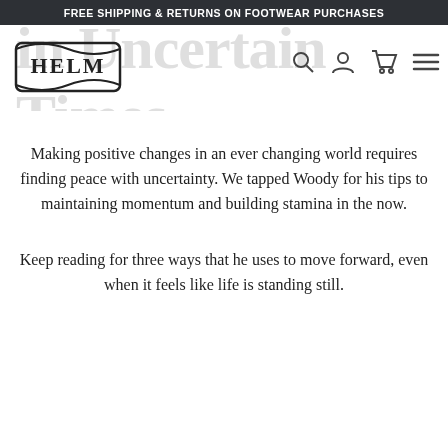FREE SHIPPING & RETURNS ON FOOTWEAR PURCHASES
[Figure (logo): HELM boots logo — stylized text logo with 'HELM' in bold serif letters]
in Uncertain Times
Making positive changes in an ever changing world requires finding peace with uncertainty. We tapped Woody for his tips to maintaining momentum and building stamina in the now.
Keep reading for three ways that he uses to move forward, even when it feels like life is standing still.